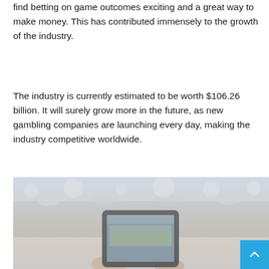find betting on game outcomes exciting and a great way to make money. This has contributed immensely to the growth of the industry.
The industry is currently estimated to be worth $106.26 billion. It will surely grow more in the future, as new gambling companies are launching every day, making the industry competitive worldwide.
[Figure (photo): A person holding a smartphone in front of a sports stadium, photographing the view through the phone screen. The image has a washed-out, faded appearance with muted colors.]